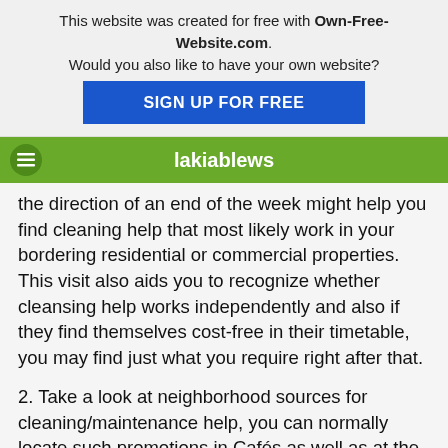This website was created for free with Own-Free-Website.com. Would you also like to have your own website? SIGN UP FOR FREE
lakiablews
the direction of an end of the week might help you find cleaning help that most likely work in your bordering residential or commercial properties. This visit also aids you to recognize whether cleansing help works independently and also if they find themselves cost-free in their timetable, you may find just what you require right after that.
2. Take a look at neighborhood sources for cleaning/maintenance help, you can normally locate such promotions in Cafés as well as at the dry cleaners. One more great resource these days is craigslist.org. Visit to upload a work and also craigslist in the jobs area. You will be amazed at the amount of actions you obtain and the quality of the people. To discover housekeepers, this may a bit challenging, however you never ever understand.